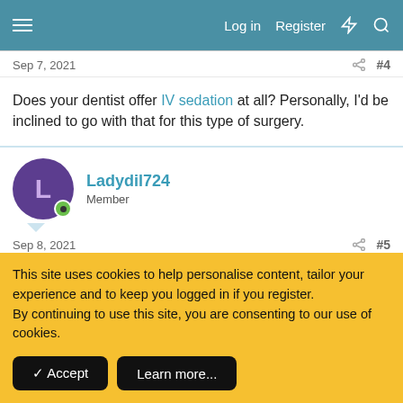Log in  Register
Sep 7, 2021   #4
Does your dentist offer IV sedation at all? Personally, I'd be inclined to go with that for this type of surgery.
Ladydil724  Member
Sep 8, 2021   #5
This site uses cookies to help personalise content, tailor your experience and to keep you logged in if you register.
By continuing to use this site, you are consenting to our use of cookies.
Accept   Learn more...